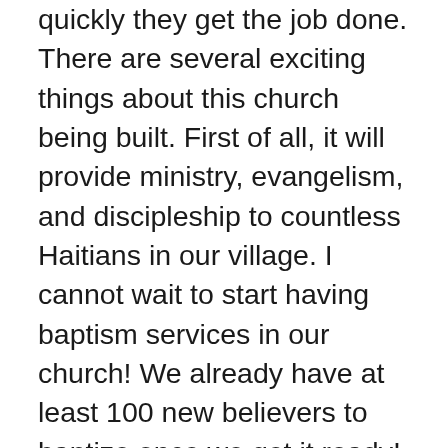quickly they get the job done. There are several exciting things about this church being built. First of all, it will provide ministry, evangelism, and discipleship to countless Haitians in our village. I cannot wait to start having baptism services in our church! We already have at least 100 new believers to baptize once we get it ready! Secondly, the building of this church has provided jobs for many men in our village who had no income before this project began. This means healthy, happy families! Thirdly, this church represents yet another partnership in the ever-growing But God Ministries family. God asked First Baptist Church of Brandon to adopt this project, and in obedience, they are teaming up with BGM to get it done. It’s so exciting to see God expand the ministry He has begun through But God Ministries. God is meeting so many needs in our little village of Galette Chambon, and it is such a blessing to be a part of it! And what’s doubly